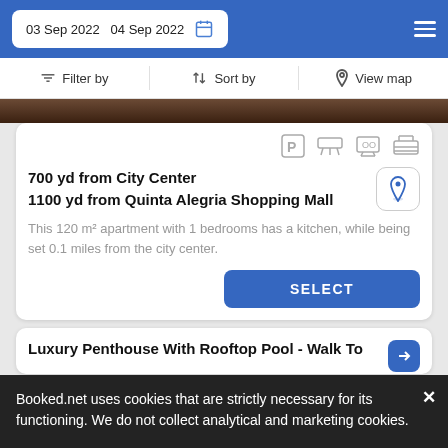03 Sep 2022  04 Sep 2022
Filter by   Sort by   View map
[Figure (photo): Top portion of a property image strip, dark brown wood tones]
700 yd from City Center
1100 yd from Quinta Alegria Shopping Mall
This 120 m² apartment with 1 bedrooms has a kitchen, while being set 0.1 miles from the city center.
SELECT
Luxury Penthouse With Rooftop Pool - Walk To
Booked.net uses cookies that are strictly necessary for its functioning. We do not collect analytical and marketing cookies.